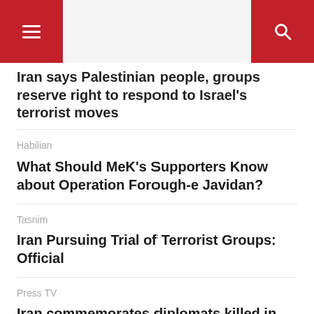Navigation header with menu and search buttons
Iran says Palestinian people, groups reserve right to respond to Israel's terrorist moves
Habilian
What Should MeK’s Supporters Know about Operation Forough-e Javidan?
Tasnim
Iran Pursuing Trial of Terrorist Groups: Official
Press TV
Iran commemorates diplomats killed in ‘unforgettable’ Mazar-i-Sharif terrorist attack
Habilian